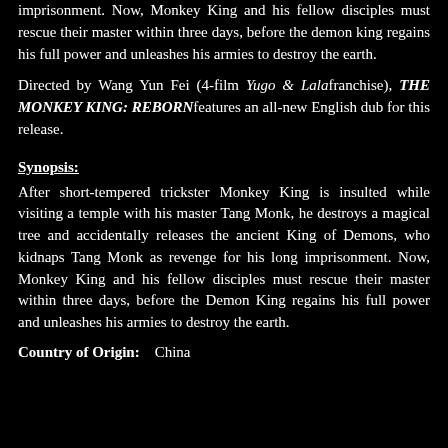imprisonment. Now, Monkey King and his fellow disciples must rescue their master within three days, before the demon king regains his full power and unleashes his armies to destroy the earth.
Directed by Wang Yun Fei (4-film Yugo & Lala franchise), THE MONKEY KING: REBORN features an all-new English dub for this release.
Synopsis:
After short-tempered trickster Monkey King is insulted while visiting a temple with his master Tang Monk, he destroys a magical tree and accidentally releases the ancient King of Demons, who kidnaps Tang Monk as revenge for his long imprisonment. Now, Monkey King and his fellow disciples must rescue their master within three days, before the Demon King regains his full power and unleashes his armies to destroy the earth.
Country of Origin:   China